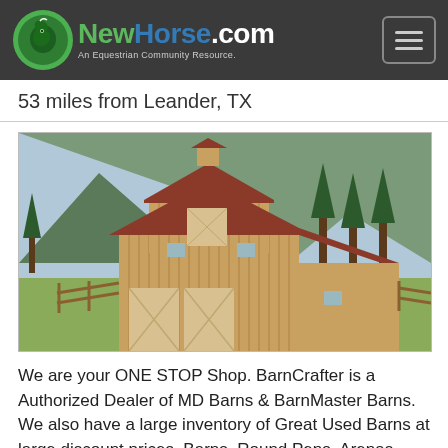NewHorse.com — An Equestrian Community Resource.
53 miles from Leander, TX
[Figure (photo): Exterior rendering of a wooden horse barn with dark red roof, multiple stall doors, a cupola on top, fenced paddock area, trees and mountain in background.]
We are your ONE STOP Shop. BarnCrafter is a Authorized Dealer of MD Barns & BarnMaster Barns. We also have a large inventory of Great Used Barns at large discount prices. Barns, Round Pens, Arenas...